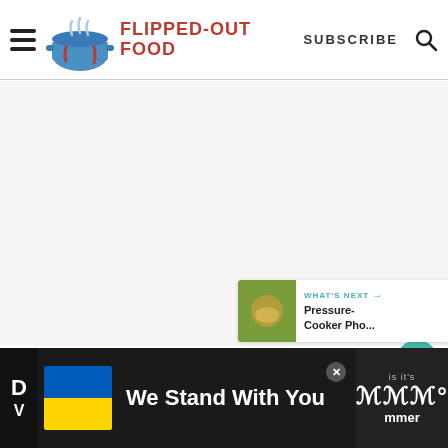FLIPPED-OUT FOOD | SUBSCRIBE
[Figure (screenshot): Large blank/white image content area below the header, representing a webpage main content zone with a food blog header. Action buttons (heart/favorite and share) float on the right side. A 'WHAT'S NEXT' widget shows 'Pressure-Cooker Pho...' in the lower right.]
WHAT'S NEXT → Pressure-Cooker Pho...
We Stand With You
D V  is it's  ummer